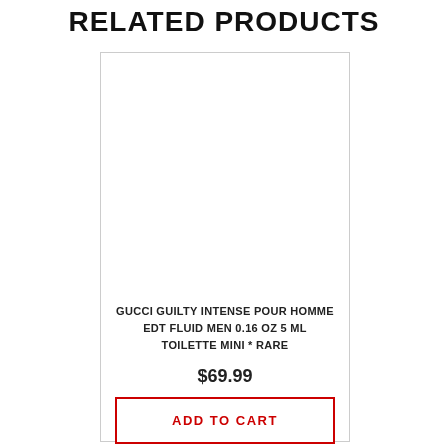RELATED PRODUCTS
[Figure (photo): Product image area - blank white space for product photo]
GUCCI GUILTY INTENSE POUR HOMME EDT FLUID MEN 0.16 OZ 5 ML TOILETTE MINI * RARE
$69.99
ADD TO CART